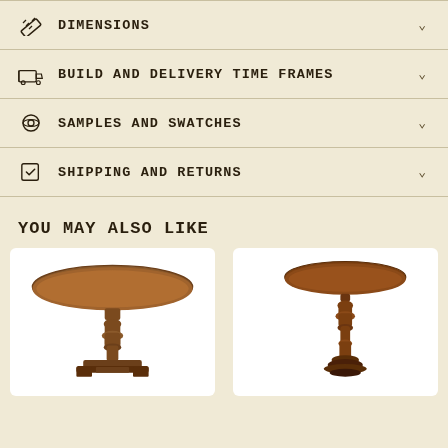DIMENSIONS
BUILD AND DELIVERY TIME FRAMES
SAMPLES AND SWATCHES
SHIPPING AND RETURNS
YOU MAY ALSO LIKE
[Figure (photo): Round wooden pedestal dining table with turned center column and four-leg base, brown walnut finish]
[Figure (photo): Round wooden pedestal side table with ornate turned column and small round top, dark brown finish]